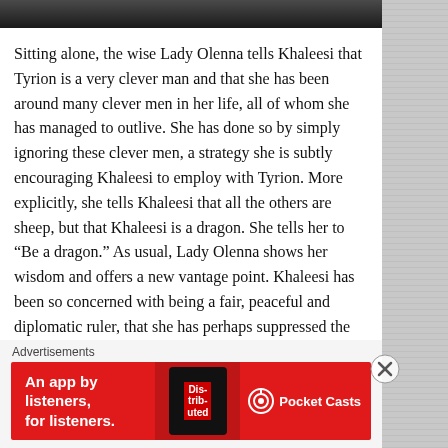[Figure (photo): Top portion of an image showing people, partially cropped]
Sitting alone, the wise Lady Olenna tells Khaleesi that Tyrion is a very clever man and that she has been around many clever men in her life, all of whom she has managed to outlive. She has done so by simply ignoring these clever men, a strategy she is subtly encouraging Khaleesi to employ with Tyrion. More explicitly, she tells Khaleesi that all the others are sheep, but that Khaleesi is a dragon. She tells her to “Be a dragon.” As usual, Lady Olenna shows her wisdom and offers a new vantage point. Khaleesi has been so concerned with being a fair, peaceful and diplomatic ruler, that she has perhaps suppressed the dragon inside of her. While nobody wants to see her repeat the madness or cruelty of her father, at the same time, it is important that Khaleesi remembers who she is. She is the Mother of Dragons, and to get to where she needs to be, she will
Advertisements
[Figure (screenshot): Advertisement banner for Pocket Casts app: red background with text 'An app by listeners, for listeners.' and Pocket Casts logo]